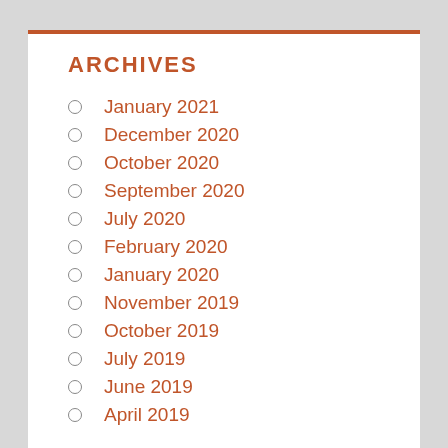ARCHIVES
January 2021
December 2020
October 2020
September 2020
July 2020
February 2020
January 2020
November 2019
October 2019
July 2019
June 2019
April 2019